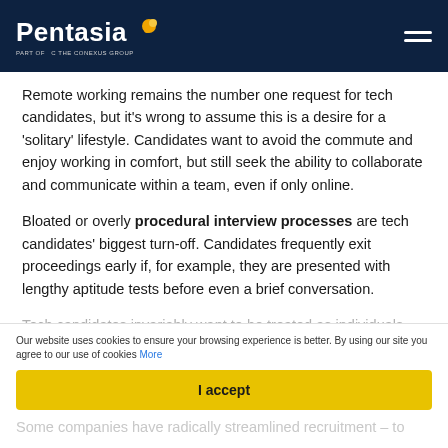Pentasia
Remote working remains the number one request for tech candidates, but it's wrong to assume this is a desire for a 'solitary' lifestyle. Candidates want to avoid the commute and enjoy working in comfort, but still seek the ability to collaborate and communicate within a team, even if only online.
Bloated or overly procedural interview processes are tech candidates' biggest turn-off. Candidates frequently exit proceedings early if, for example, they are presented with lengthy aptitude tests before even a brief conversation.
Tech candidates invariably want to be treated as individuals, rather than just an extension of 'the machine.'
Our website uses cookies to ensure your browsing experience is better. By using our site you agree to our use of cookies More
I accept
Some companies have radically streamlined recruitment – to